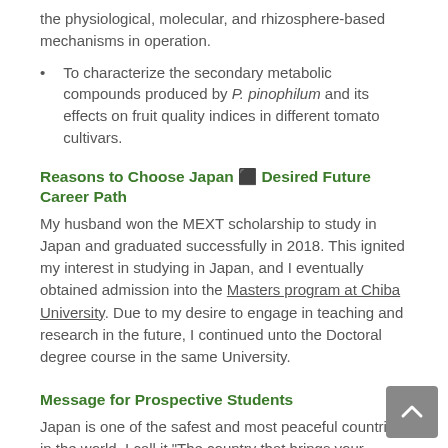the physiological, molecular, and rhizosphere-based mechanisms in operation.
To characterize the secondary metabolic compounds produced by P. pinophilum and its effects on fruit quality indices in different tomato cultivars.
Reasons to Choose Japan & Desired Future Career Path
My husband won the MEXT scholarship to study in Japan and graduated successfully in 2018. This ignited my interest in studying in Japan, and I eventually obtained admission into the Masters program at Chiba University. Due to my desire to engage in teaching and research in the future, I continued unto the Doctoral degree course in the same University.
Message for Prospective Students
Japan is one of the safest and most peaceful countries in the world. I call it "The country that brings your imagination and thoughts to reality". The high level of